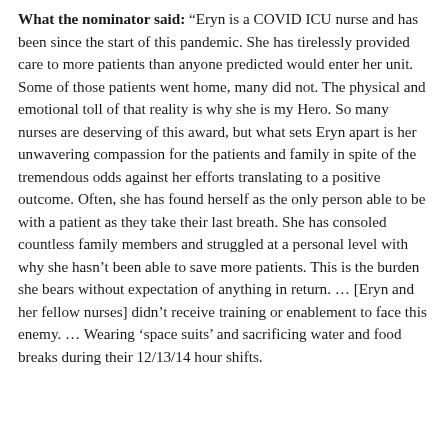What the nominator said: “Eryn is a COVID ICU nurse and has been since the start of this pandemic. She has tirelessly provided care to more patients than anyone predicted would enter her unit. Some of those patients went home, many did not. The physical and emotional toll of that reality is why she is my Hero. So many nurses are deserving of this award, but what sets Eryn apart is her unwavering compassion for the patients and family in spite of the tremendous odds against her efforts translating to a positive outcome. Often, she has found herself as the only person able to be with a patient as they take their last breath. She has consoled countless family members and struggled at a personal level with why she hasn’t been able to save more patients. This is the burden she bears without expectation of anything in return. … [Eryn and her fellow nurses] didn’t receive training or enablement to face this enemy. … Wearing ‘space suits’ and sacrificing water and food breaks during their 12/13/14 hour shifts.